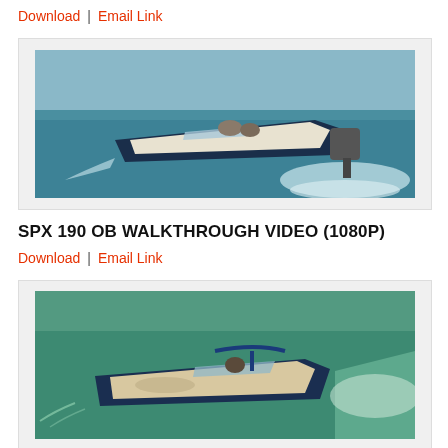Download  |  Email Link
[Figure (photo): A speedboat with outboard motor speeding across water, viewed from above-rear angle, wake visible behind]
SPX 190 OB WALKTHROUGH VIDEO (1080P)
Download  |  Email Link
[Figure (photo): A dark blue speedboat on open water viewed from side-rear angle, wake visible behind, person visible in boat]